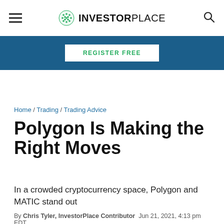INVESTORPLACE
REGISTER FREE
Home / Trading / Trading Advice
Polygon Is Making the Right Moves
In a crowded cryptocurrency space, Polygon and MATIC stand out
By Chris Tyler, InvestorPlace Contributor  Jun 21, 2021, 4:13 pm EDT